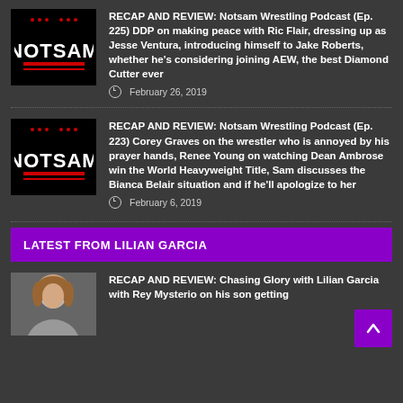[Figure (logo): Notsam Wrestling Podcast logo - black background with red and white stylized text]
RECAP AND REVIEW: Notsam Wrestling Podcast (Ep. 225) DDP on making peace with Ric Flair, dressing up as Jesse Ventura, introducing himself to Jake Roberts, whether he's considering joining AEW, the best Diamond Cutter ever
February 26, 2019
[Figure (logo): Notsam Wrestling Podcast logo - black background with red and white stylized text]
RECAP AND REVIEW: Notsam Wrestling Podcast (Ep. 223) Corey Graves on the wrestler who is annoyed by his prayer hands, Renee Young on watching Dean Ambrose win the World Heavyweight Title, Sam discusses the Bianca Belair situation and if he'll apologize to her
February 6, 2019
LATEST FROM LILIAN GARCIA
[Figure (photo): Photo of Lilian Garcia]
RECAP AND REVIEW: Chasing Glory with Lilian Garcia with Rey Mysterio on his son getting